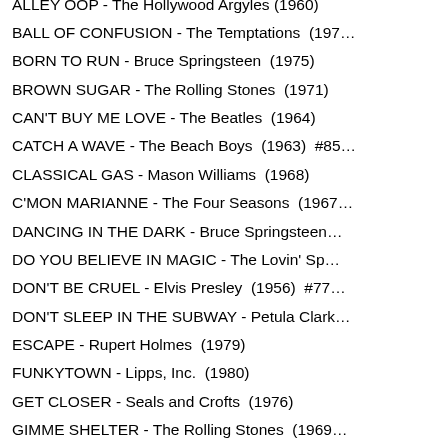ALLEY OOP - The Hollywood Argyles (1960)
BALL OF CONFUSION - The Temptations (197...)
BORN TO RUN - Bruce Springsteen (1975)
BROWN SUGAR - The Rolling Stones (1971)
CAN'T BUY ME LOVE - The Beatles (1964)
CATCH A WAVE - The Beach Boys (1963) #85
CLASSICAL GAS - Mason Williams (1968)
C'MON MARIANNE - The Four Seasons (1967...)
DANCING IN THE DARK - Bruce Springsteen...
DO YOU BELIEVE IN MAGIC - The Lovin' Sp...
DON'T BE CRUEL - Elvis Presley (1956) #77...
DON'T SLEEP IN THE SUBWAY - Petula Clark...
ESCAPE - Rupert Holmes (1979)
FUNKYTOWN - Lipps, Inc. (1980)
GET CLOSER - Seals and Crofts (1976)
GIMME SHELTER - The Rolling Stones (1969...)